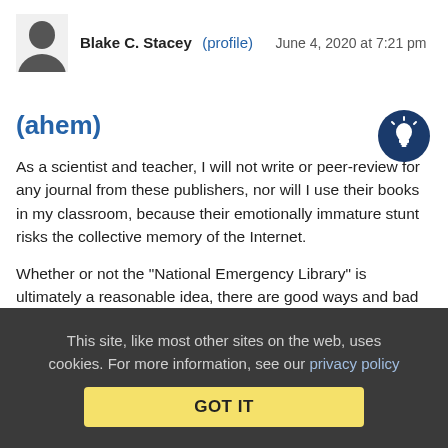Blake C. Stacey (profile) June 4, 2020 at 7:21 pm
[Figure (illustration): Dark blue circle with a lightbulb icon (idea/lightbulb badge)]
(ahem)
As a scientist and teacher, I will not write or peer-review for any journal from these publishers, nor will I use their books in my classroom, because their emotionally immature stunt risks the collective memory of the Internet.
Whether or not the "National Emergency Library" is ultimately a reasonable idea, there are good ways and bad ways to approach the issue, and Hachette, HarperCollins, Wiley and Penguin Random House have chosen a bad one. For two decades, scholars have been asking "What value do publishers actually
This site, like most other sites on the web, uses cookies. For more information, see our privacy policy  GOT IT